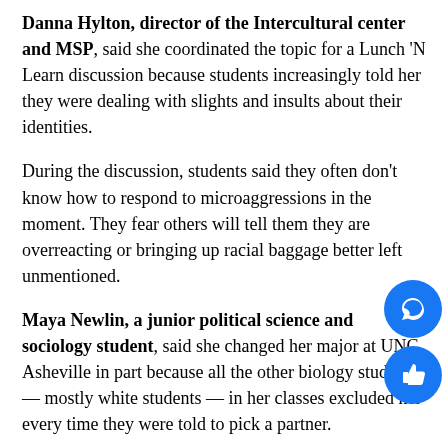Danna Hylton, director of the Intercultural center and MSP, said she coordinated the topic for a Lunch 'N Learn discussion because students increasingly told her they were dealing with slights and insults about their identities.
During the discussion, students said they often don't know how to respond to microaggressions in the moment. They fear others will tell them they are overreacting or bringing up racial baggage better left unmentioned.
Maya Newlin, a junior political science and sociology student, said she changed her major at UNC Asheville in part because all the other biology students — mostly white students — in her classes excluded her every time they were told to pick a partner.